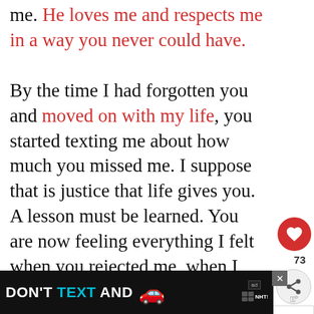me. He loves me and respects me in a way you never could have.

By the time I had forgotten you and moved on with my life, you started texting me about how much you missed me. I suppose that is justice that life gives you. A lesson must be learned. You are now feeling everything I felt when you rejected me, when I was number two or five or ten in your life, while you were my number one.
[Figure (screenshot): UI overlay with heart/like button (red circle, 73 likes), share button, and a 'What's Next' panel showing 'I Hate You For Not Loving ...' article thumbnail]
[Figure (screenshot): Advertisement banner at the bottom: 'DON'T TEXT AND' with a car emoji, ad badge with NHTSA logo. Close button X visible. WW logo on the right.]